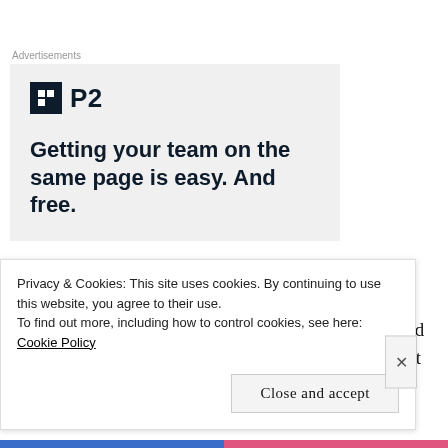Advertisements
[Figure (screenshot): P2 advertisement banner with logo and tagline: Getting your team on the same page is easy. And free.]
I remarked to my HOD how TIRED I was by the end of the day – it is ridiculous how that works – you get
Privacy & Cookies: This site uses cookies. By continuing to use this website, you agree to their use.
To find out more, including how to control cookies, see here: Cookie Policy
Close and accept